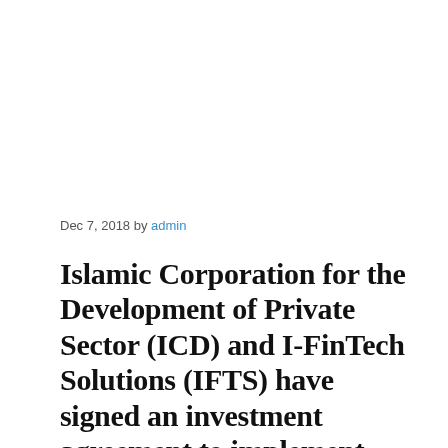Dec 7, 2018 by admin
Islamic Corporation for the Development of Private Sector (ICD) and I-FinTech Solutions (IFTS) have signed an investment agreement to implement blockchain solutions for Islamic banks